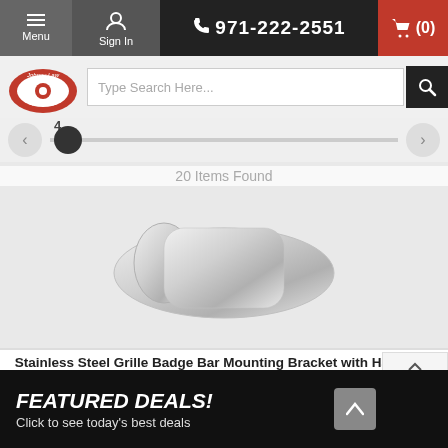Menu | Sign In | 971-222-2551 | Cart (0)
[Figure (screenshot): Website navigation bar with menu, sign in, phone number 971-222-2551, and shopping cart (0) icon on red background]
[Figure (logo): Johnny Law Motors logo - red oval with wheel graphic]
Type Search Here...
4
20 Items Found
[Figure (photo): Stainless steel grille badge bar mounting bracket product photo on white background]
Stainless Steel Grille Badge Bar Mounting Bracket with Hardware
$9.95
Top
Bottom
Mount your badge with ease! This vintage badge bar bracket is made from high quality stainless steel. Includes hardware and slotted holes on the
FEATURED DEALS! Click to see today's best deals